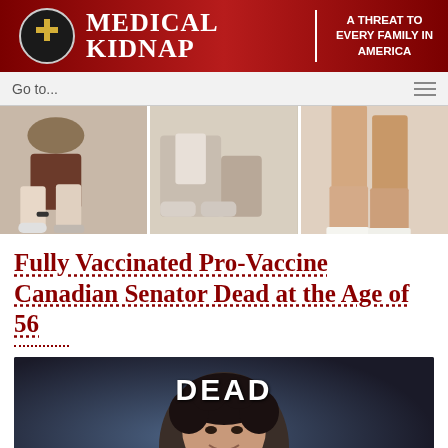MEDICAL KIDNAP | A THREAT TO EVERY FAMILY IN AMERICA
Go to...
[Figure (photo): Strip of three photos showing people's legs and feet]
Fully Vaccinated Pro-Vaccine Canadian Senator Dead at the Age of 56
[Figure (photo): Photo of a woman with curly dark hair smiling, overlaid with the text DEAD in white bold letters]